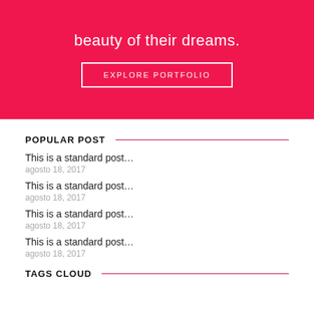[Figure (other): Pink/red hero banner with text 'beauty of their dreams.' and an EXPLORE PORTFOLIO button with white border]
POPULAR POST
This is a standard post…
agosto 18, 2017
This is a standard post…
agosto 18, 2017
This is a standard post…
agosto 18, 2017
This is a standard post…
agosto 18, 2017
TAGS CLOUD